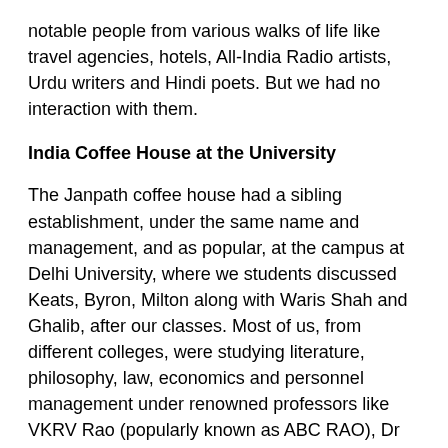notable people from various walks of life like travel agencies, hotels, All-India Radio artists, Urdu writers and Hindi poets. But we had no interaction with them.
India Coffee House at the University
The Janpath coffee house had a sibling establishment, under the same name and management, and as popular, at the campus at Delhi University, where we students discussed Keats, Byron, Milton along with Waris Shah and Ghalib, after our classes. Most of us, from different colleges, were studying literature, philosophy, law, economics and personnel management under renowned professors like VKRV Rao (popularly known as ABC RAO), Dr Swarup Singh, who went on to become Vice-Chancellor of Delhi University and later a State Governor, Prof. Bhalla of St. Stephen's College Another popular professor used to be Frank Thakur Das.
In our literature class, there were three girls. One of them was Madhur Mathur, who became Madhur Jaffrey, and is now the famous Indian cookery queen of New York.
The three students who never entered the University